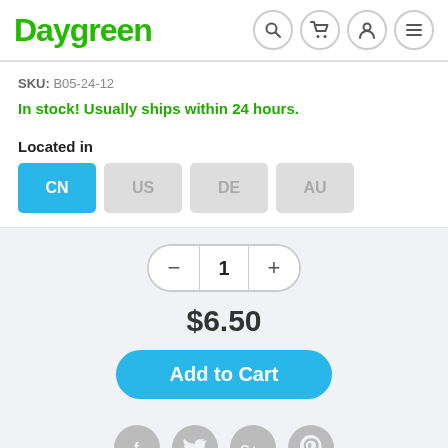Daygreen
SKU: B05-24-12
In stock! Usually ships within 24 hours.
Located in
CN  US  DE  AU
$6.50
Add to Cart